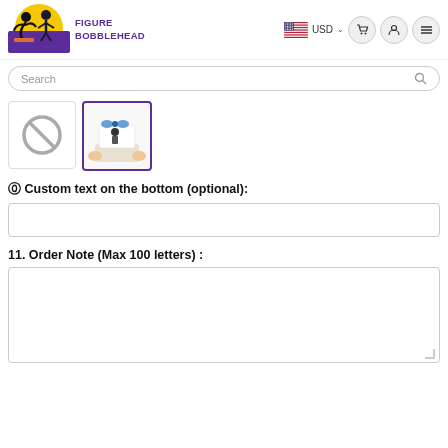[Figure (logo): Figure Bobblehead logo: cartoon figure on yellow circle background with purple/blue tones, text 'FIGURE BOBBLEHEAD' in purple bold uppercase]
FIGURE BOBBLEHEAD  USD  [cart icon] [user icon] [menu icon]
[Figure (screenshot): Search bar with placeholder text 'Search' and magnifying glass icon]
[Figure (photo): Two thumbnail images: first shows a prohibited/no symbol (circle with slash), second shows a bobblehead figure in a gift box with blue bow being held by hands]
⑩ Custom text on the bottom (optional):
[Figure (other): Empty text input box for custom text on the bottom]
11. Order Note (Max 100 letters) :
[Figure (other): Empty large textarea for order note]